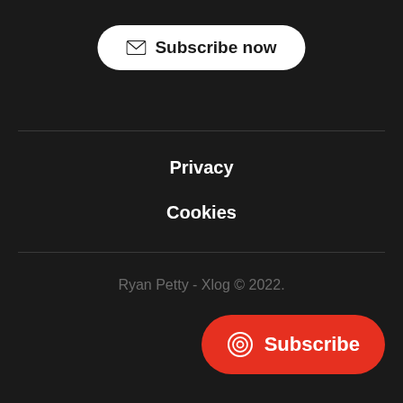[Figure (other): Subscribe now button with envelope icon, white rounded pill button on dark background]
Privacy
Cookies
Ryan Petty - Xlog © 2022.
[Figure (other): Red rounded pill Subscribe button with circular RSS-like icon, floating bottom right]